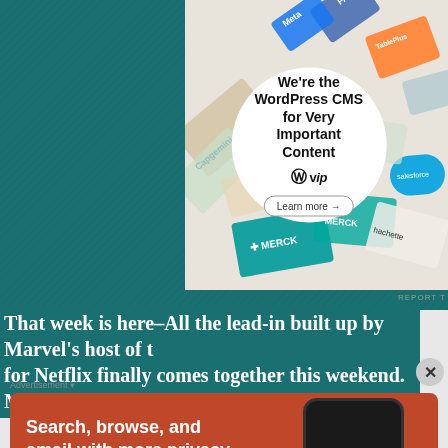[Figure (screenshot): WordPress VIP advertisement showing scattered brand cards (Meta, Facebook, Capgemini, Merck, Hachette, Salesforce etc.) in background with a white circle overlay containing text 'We're the WordPress CMS for Very Important Content' with WordPress VIP logo and 'Learn more →' button]
That week is here–All the lead-in built up by Marvel's host of t... for Netflix finally comes together this weekend.  Marvel's D...
Advertisement
[Figure (screenshot): DuckDuckGo advertisement on orange-red background showing 'Search, browse, and email with more privacy. All in One Free App' with phone mockup showing DuckDuckGo logo]